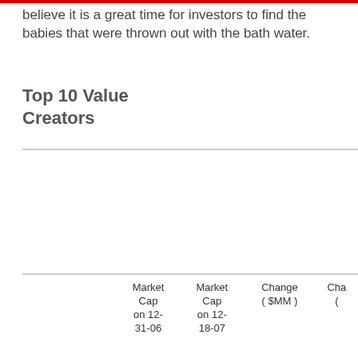believe it is a great time for investors to find the babies that were thrown out with the bath water.
Top 10 Value Creators
|  | Market Cap on 12-31-06 | Market Cap on 12-18-07 | Change ($MM) | Cha... |
| --- | --- | --- | --- | --- |